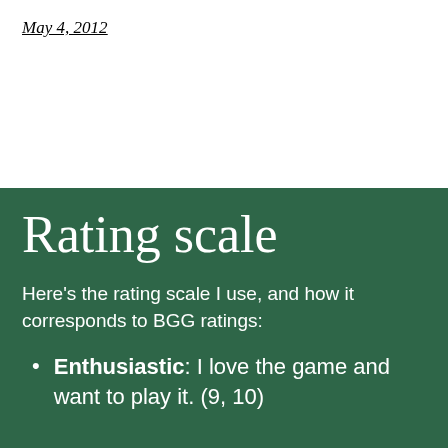May 4, 2012
Rating scale
Here's the rating scale I use, and how it corresponds to BGG ratings:
Enthusiastic: I love the game and want to play it. (9, 10)